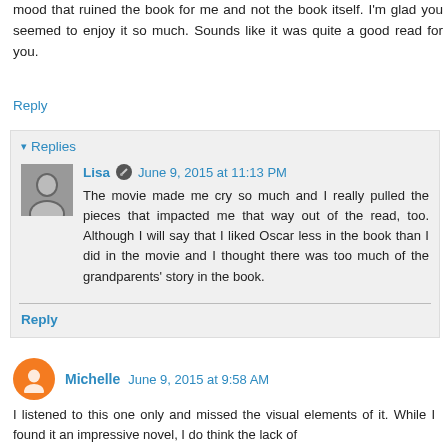mood that ruined the book for me and not the book itself. I'm glad you seemed to enjoy it so much. Sounds like it was quite a good read for you.
Reply
Replies
Lisa   June 9, 2015 at 11:13 PM
The movie made me cry so much and I really pulled the pieces that impacted me that way out of the read, too. Although I will say that I liked Oscar less in the book than I did in the movie and I thought there was too much of the grandparents' story in the book.
Reply
Michelle  June 9, 2015 at 9:58 AM
I listened to this one only and missed the visual elements of it. While I found it an impressive novel, I do think the lack of